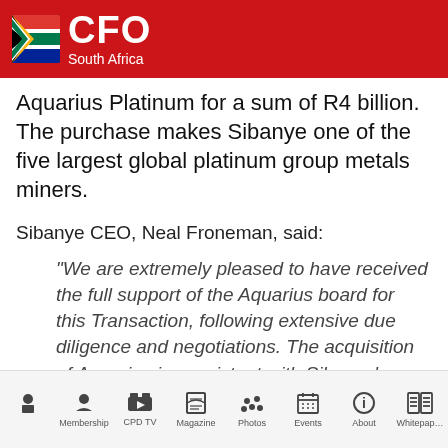CFO South Africa
Aquarius Platinum for a sum of R4 billion. The purchase makes Sibanye one of the five largest global platinum group metals miners.
Sibanye CEO, Neal Froneman, said:
"We are extremely pleased to have received the full support of the Aquarius board for this Transaction, following extensive due diligence and negotiations. The acquisition of Aquarius is consistent with Sibanye's strategy to secure value accretive, cash
Home | Membership | CPD TV | Magazine | Photos | Events | About | Whitepaper